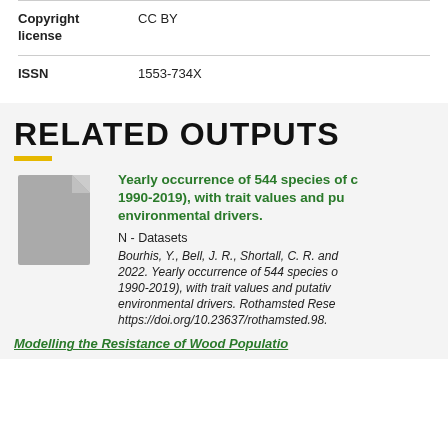| Field | Value |
| --- | --- |
| Copyright license | CC BY |
| ISSN | 1553-734X |
RELATED OUTPUTS
[Figure (illustration): Gray document/file icon]
Yearly occurrence of 544 species of (1990-2019), with trait values and putative environmental drivers.
N - Datasets
Bourhis, Y., Bell, J. R., Shortall, C. R. and 2022. Yearly occurrence of 544 species of (1990-2019), with trait values and putative environmental drivers. Rothamsted Research. https://doi.org/10.23637/rothamsted.98...
Modelling the Resistance of Wood Population...